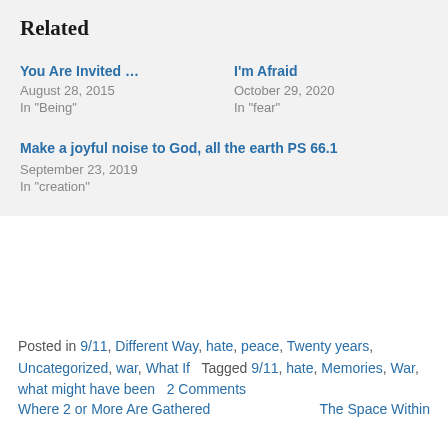Related
You Are Invited …
August 28, 2015
In "Being"
I'm Afraid
October 29, 2020
In "fear"
Make a joyful noise to God, all the earth PS 66.1
September 23, 2019
In "creation"
Posted in 9/11, Different Way, hate, peace, Twenty years, Uncategorized, war, What If   Tagged 9/11, hate, Memories, War, what might have been   2 Comments
Where 2 or More Are Gathered
The Space Within